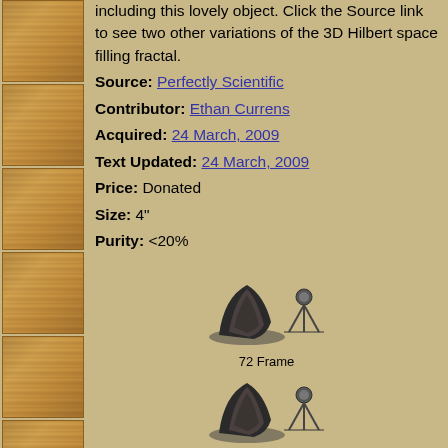including this lovely object. Click the Source link to see two other variations of the 3D Hilbert space filling fractal. Source: Perfectly Scientific Contributor: Ethan Currens Acquired: 24 March, 2009 Text Updated: 24 March, 2009 Price: Donated Size: 4" Purity: <20%
[Figure (photo): Black background thumbnail showing stacked coin/cylinder shapes]
[Figure (photo): 72 Frame animated object with camera tripod icon]
72 Frame
[Figure (photo): Second animated object view with camera tripod icon]